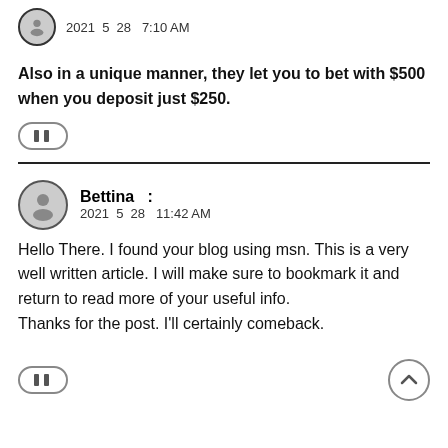[Figure (other): User avatar (gray circle with person silhouette)]
2021 5 28  7:10 AM
Also in a unique manner, they let you to bet with $500 when you deposit just $250.
[Figure (other): Pause/like icon button (two vertical bars in oval)]
Bettina   :
2021 5 28  11:42 AM
Hello There. I found your blog using msn. This is a very well written article. I will make sure to bookmark it and return to read more of your useful info.
Thanks for the post. I'll certainly comeback.
[Figure (other): Pause/like icon button (two vertical bars in oval)]
[Figure (other): Scroll to top button (chevron up in circle)]